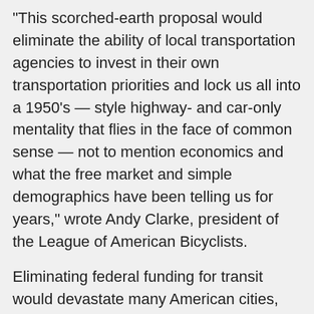“This scorched-earth proposal would eliminate the ability of local transportation agencies to invest in their own transportation priorities and lock us all into a 1950’s — style highway- and car-only mentality that flies in the face of common sense — not to mention economics and what the free market and simple demographics have been telling us for years,” wrote Andy Clarke, president of the League of American Bicyclists.
Eliminating federal funding for transit would devastate many American cities, where transit agency budgets would be thrown into turmoil. And while federal funding for biking and walking can make a big difference because the infrastructure is so cost efficient, killing those programs won’t affect the solvency of the Highway Trust Fund. The savings wouldn’t even be enough to cover the cost of rebuilding a single interchange in Wisconsin. [Full article ...]
Below are the products we can choose to avoid, if we’re to start defunding Koch Industries in whatever small way we can. Very unfortunately for bicyclists, Lycra is one of them. I am not sure what, if any alternative exists for this fabric.